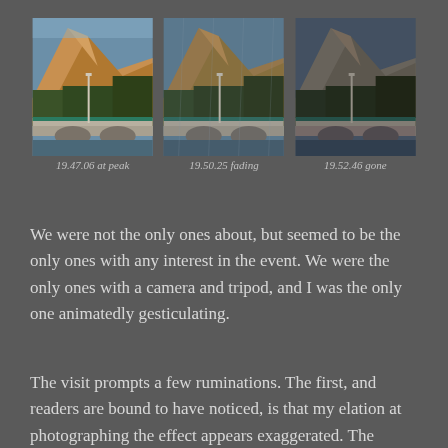[Figure (photo): Three photographs of a rocky mountain peak and bridge at dusk/sunset, showing the light fading over time]
19.47.06 at peak     19.50.25 fading     19.52.46 gone
We were not the only ones about, but seemed to be the only ones with any interest in the event. We were the only ones with a camera and tripod, and I was the only one animatedly gesticulating.
The visit prompts a few ruminations. The first, and readers are bound to have noticed, is that my elation at photographing the effect appears exaggerated. The